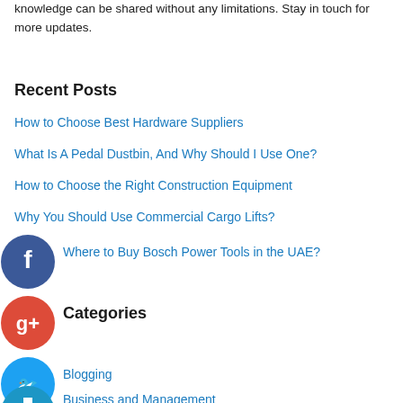knowledge can be shared without any limitations. Stay in touch for more updates.
Recent Posts
How to Choose Best Hardware Suppliers
What Is A Pedal Dustbin, And Why Should I Use One?
How to Choose the Right Construction Equipment
Why You Should Use Commercial Cargo Lifts?
Where to Buy Bosch Power Tools in the UAE?
Categories
Blogging
Business and Management
Education
Entertainment